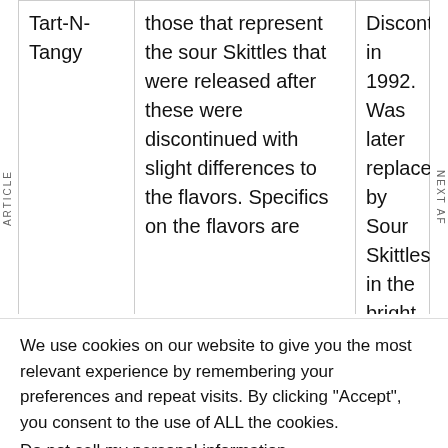| Tart-N-Tangy | those that represent the sour Skittles that were released after these were discontinued with slight differences to the flavors. Specifics on the flavors are | Discontinued in 1992. Was later replaced by Sour Skittles in the bright green package. |
We use cookies on our website to give you the most relevant experience by remembering your preferences and repeat visits. By clicking "Accept", you consent to the use of ALL the cookies.
Do not sell my personal information.